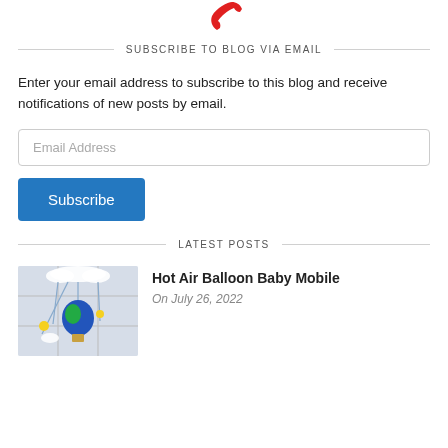[Figure (illustration): Red phone/handset icon at top center]
SUBSCRIBE TO BLOG VIA EMAIL
Enter your email address to subscribe to this blog and receive notifications of new posts by email.
LATEST POSTS
[Figure (photo): Hot air balloon baby mobile hanging from cloud decoration]
Hot Air Balloon Baby Mobile
On July 26, 2022